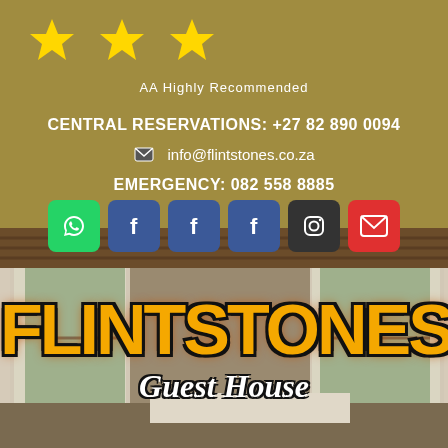[Figure (illustration): Three yellow star icons representing 3-star AA rating]
AA Highly Recommended
CENTRAL RESERVATIONS: +27 82 890 0094
info@flintstones.co.za
EMERGENCY: 082 558 8885
[Figure (illustration): Social media icons row: WhatsApp (green), Facebook (blue) x3, Instagram (dark), Email (red)]
[Figure (photo): Interior photo of a guest house room with large windows, curtains, and wooden ceiling]
FLINTSTONES
Guest House